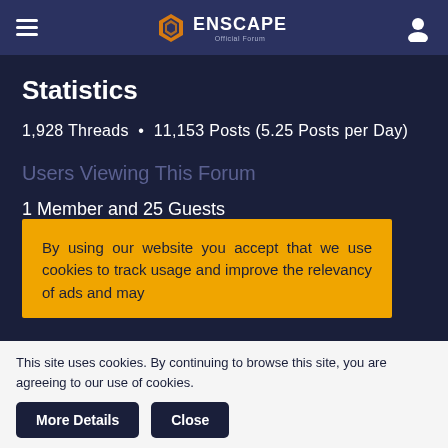Enscape Official Forum
Statistics
1,928 Threads · 11,153 Posts (5.25 Posts per Day)
Users Viewing This Forum
1 Member and 25 Guests
dianaallaham
By using our website you accept that we use cookies to track usage and improve the relevancy of ads and may
This site uses cookies. By continuing to browse this site, you are agreeing to our use of cookies.